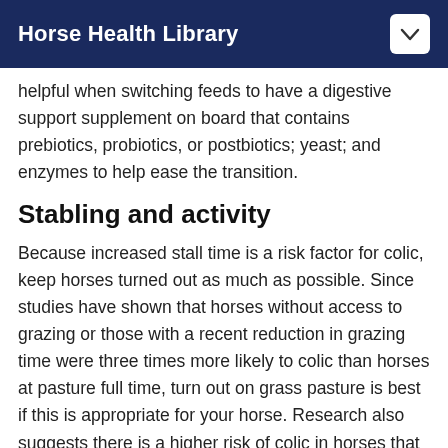Horse Health Library
helpful when switching feeds to have a digestive support supplement on board that contains prebiotics, probiotics, or postbiotics; yeast; and enzymes to help ease the transition.
Stabling and activity
Because increased stall time is a risk factor for colic, keep horses turned out as much as possible. Since studies have shown that horses without access to grazing or those with a recent reduction in grazing time were three times more likely to colic than horses at pasture full time, turn out on grass pasture is best if this is appropriate for your horse. Research also suggests there is a higher risk of colic in horses that have a significant and sudden change in activity or exercise, so make increases and decreases to a horse's workload (both duration and intensity),